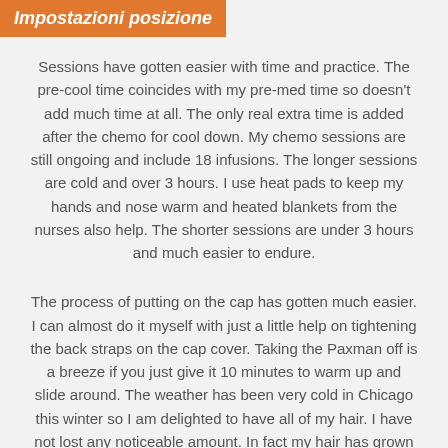Impostazioni posizione
Sessions have gotten easier with time and practice. The pre-cool time coincides with my pre-med time so doesn't add much time at all. The only real extra time is added after the chemo for cool down. My chemo sessions are still ongoing and include 18 infusions. The longer sessions are cold and over 3 hours. I use heat pads to keep my hands and nose warm and heated blankets from the nurses also help. The shorter sessions are under 3 hours and much easier to endure.
The process of putting on the cap has gotten much easier. I can almost do it myself with just a little help on tightening the back straps on the cap cover. Taking the Paxman off is a breeze if you just give it 10 minutes to warm up and slide around. The weather has been very cold in Chicago this winter so I am delighted to have all of my hair. I have not lost any noticeable amount. In fact my hair has grown considerably during these months of chemo. I never